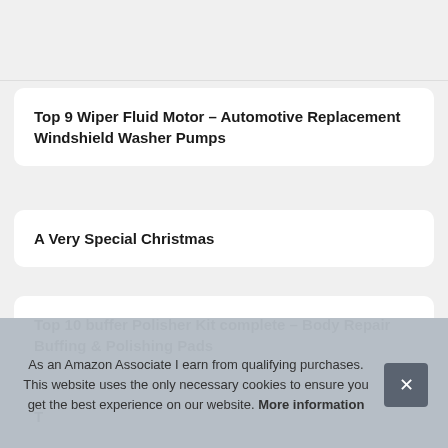Top 9 Wiper Fluid Motor – Automotive Replacement Windshield Washer Pumps
A Very Special Christmas
Top 10 buffer Polisher Kit complete – Body Repair Buffing & Polishing Pads
As an Amazon Associate I earn from qualifying purchases. This website uses the only necessary cookies to ensure you get the best experience on our website. More information